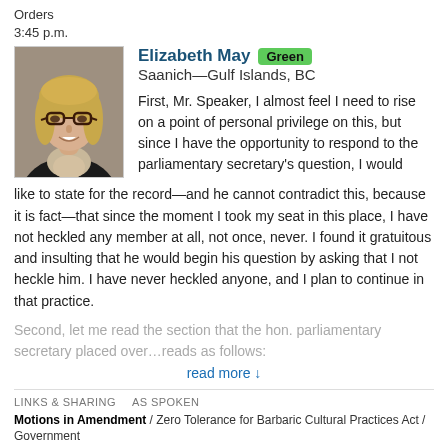Orders
3:45 p.m.
Elizabeth May  Green  Saanich—Gulf Islands, BC
[Figure (photo): Portrait photo of Elizabeth May, a woman with blonde hair wearing glasses and a dark blazer with a patterned scarf.]
First, Mr. Speaker, I almost feel I need to rise on a point of personal privilege on this, but since I have the opportunity to respond to the parliamentary secretary's question, I would like to state for the record—and he cannot contradict this, because it is fact—that since the moment I took my seat in this place, I have not heckled any member at all, not once, never. I found it gratuitous and insulting that he would begin his question by asking that I not heckle him. I have never heckled anyone, and I plan to continue in that practice.
Second, let me read the section that the hon. parliamentary secretary placed over…reads as follows:
read more ↓
LINKS & SHARING    AS SPOKEN
Motions in Amendment / Zero Tolerance for Barbaric Cultural Practices Act / Government